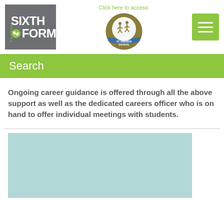[Figure (logo): Thorpe Sixth Form logo - grey box with white bold text SIXTH FORM and green THORPE text vertically on the side]
Click here to access:
[Figure (logo): Thorpe St Andrew School circular badge logo with gold/olive border, blue band, and figures on top]
[Figure (other): Green hamburger menu button with three white horizontal lines]
Search
Ongoing career guidance is offered through all the above support as well as the dedicated careers officer who is on hand to offer individual meetings with students.
[Figure (photo): Light teal/blue-green rectangular image placeholder]